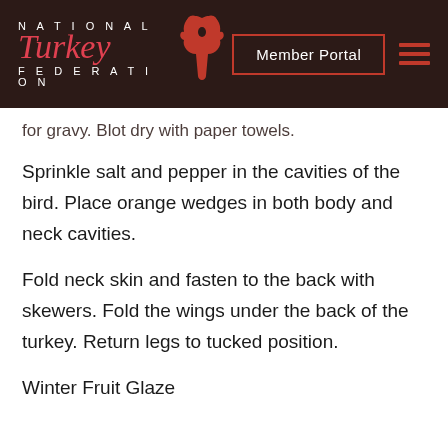[Figure (logo): National Turkey Federation logo with red script 'Turkey' text and stylized bird silhouette on dark brown background, with 'Member Portal' button outlined in red and hamburger menu icon]
for gravy. Blot dry with paper towels.
Sprinkle salt and pepper in the cavities of the bird. Place orange wedges in both body and neck cavities.
Fold neck skin and fasten to the back with skewers. Fold the wings under the back of the turkey. Return legs to tucked position.
Winter Fruit Glaze